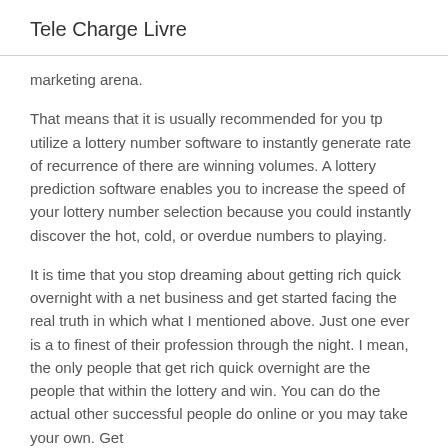Tele Charge Livre
marketing arena.
That means that it is usually recommended for you tp utilize a lottery number software to instantly generate rate of recurrence of there are winning volumes. A lottery prediction software enables you to increase the speed of your lottery number selection because you could instantly discover the hot, cold, or overdue numbers to playing.
It is time that you stop dreaming about getting rich quick overnight with a net business and get started facing the real truth in which what I mentioned above. Just one ever is a to finest of their profession through the night. I mean, the only people that get rich quick overnight are the people that within the lottery and win. You can do the actual other successful people do online or you may take your own. Get